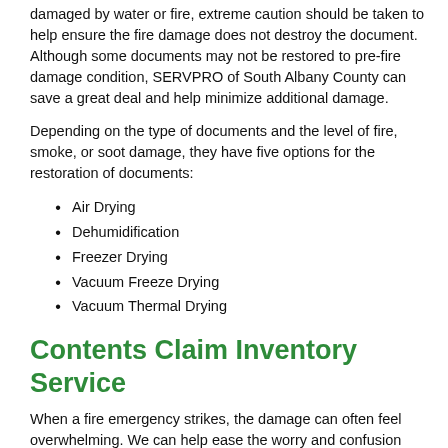damaged by water or fire, extreme caution should be taken to help ensure the fire damage does not destroy the document. Although some documents may not be restored to pre-fire damage condition, SERVPRO of South Albany County can save a great deal and help minimize additional damage.
Depending on the type of documents and the level of fire, smoke, or soot damage, they have five options for the restoration of documents:
Air Drying
Dehumidification
Freezer Drying
Vacuum Freeze Drying
Vacuum Thermal Drying
Contents Claim Inventory Service
When a fire emergency strikes, the damage can often feel overwhelming. We can help ease the worry and confusion during the recovery process by offering our Contents Claim